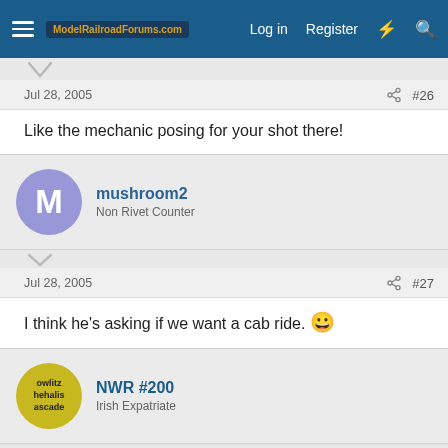ModelRailroadForums.com  Log in  Register
Jul 28, 2005  #26
Like the mechanic posing for your shot there!
mushroom2
Non Rivet Counter
Jul 28, 2005  #27
I think he's asking if we want a cab ride. 😀
NWR #200
Irish Expatriate
Jul 28, 2005  #28
Cab ride in an SD-7? Heck ya!